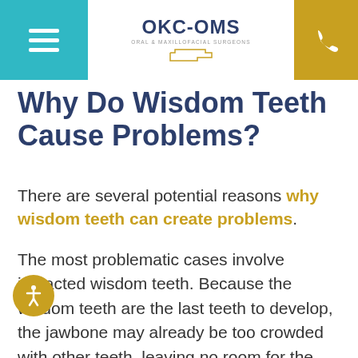OKC-OMS Oral & Maxillofacial Surgeons
Why Do Wisdom Teeth Cause Problems?
There are several potential reasons why wisdom teeth can create problems.
The most problematic cases involve impacted wisdom teeth. Because the wisdom teeth are the last teeth to develop, the jawbone may already be too crowded with other teeth, leaving no room for the wisdom to emerge. As such, the wisdom teeth can remain trapped under the gum tissue, where they may bump up against the